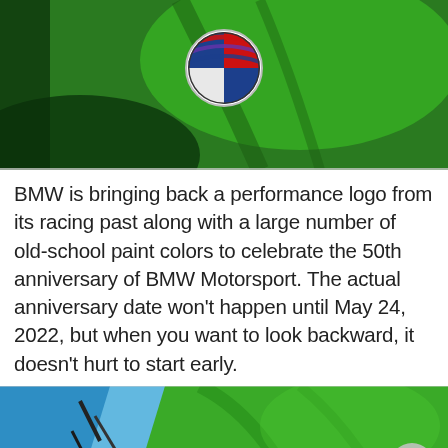[Figure (photo): Close-up of a vibrant green BMW hood with the BMW Motorsport 50th anniversary logo badge (blue, red, and white roundel) on it. Dark shadows and bright green paint visible.]
BMW is bringing back a performance logo from its racing past along with a large number of old-school paint colors to celebrate the 50th anniversary of BMW Motorsport. The actual anniversary date won't happen until May 24, 2022, but when you want to look backward, it doesn't hurt to start early.
[Figure (photo): Close-up of a green BMW car detail with blue and green paint visible, showing structural contours and a small BMW roundel badge near the bottom. A scroll-to-top button is overlaid in the bottom-right corner.]